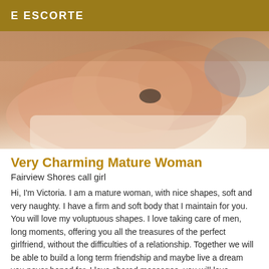E ESCORTE
[Figure (photo): Close-up photo of a woman lying down, showing body curves in lingerie]
Very Charming Mature Woman
Fairview Shores call girl
Hi, I'm Victoria. I am a mature woman, with nice shapes, soft and very naughty. I have a firm and soft body that I maintain for you. You will love my voluptuous shapes. I love taking care of men, long moments, offering you all the treasures of the perfect girlfriend, without the difficulties of a relationship. Together we will be able to build a long term friendship and maybe live a dream you never hoped for. I love shared massages, you will love